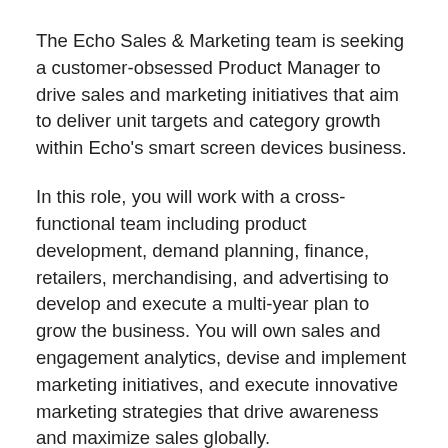The Echo Sales & Marketing team is seeking a customer-obsessed Product Manager to drive sales and marketing initiatives that aim to deliver unit targets and category growth within Echo's smart screen devices business.
In this role, you will work with a cross-functional team including product development, demand planning, finance, retailers, merchandising, and advertising to develop and execute a multi-year plan to grow the business. You will own sales and engagement analytics, devise and implement marketing initiatives, and execute innovative marketing strategies that drive awareness and maximize sales globally.
The successful candidate will: